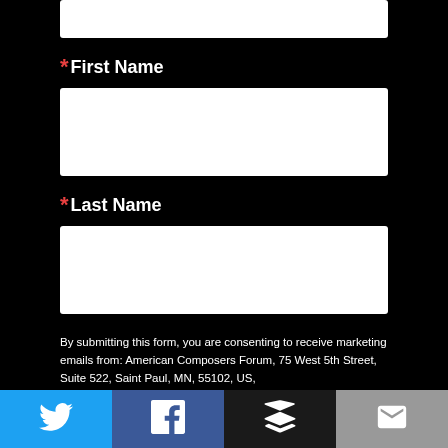* First Name
* Last Name
By submitting this form, you are consenting to receive marketing emails from: American Composers Forum, 75 West 5th Street, Suite 522, Saint Paul, MN, 55102, US, http://www.composersforum.org. You can revoke your consent to receive emails at any time by using the SafeUnsubscribe® link, found at the bottom of every email. Emails are serviced by Constant Contact.
Sign Up!